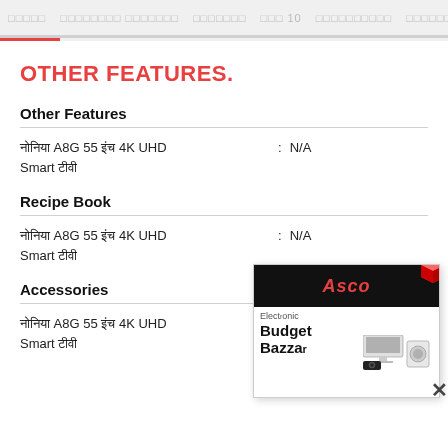□□□□□  □□□□□□□□ □□□□□□□  □□□□□□□  □□□ 10  □□□□□□□□□□  □□□□□□□  □□□□□
OTHER FEATURES.
Other Features
□□□□ A8G 55 □□□ 4K UHD Smart □□□□ :  N/A
Recipe Book
□□□□ A8G 55 □□□ 4K UHD Smart □□□□ :  N/A
Accessories
□□□□ A8G 55 □□□ 4K UHD Smart □□□□ :  Voice Remote with Set Top Box Control, AC Adapter Battery...
[Figure (illustration): Electronic Budget Bazzar advertisement box with red cube icon, showing electronics imagery and brand name]